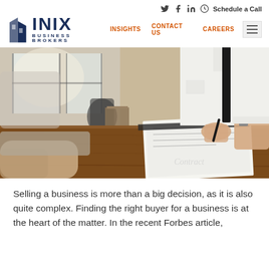Social icons | Schedule a Call | INSIGHTS | CONTACT US | CAREERS
[Figure (logo): INIX Business Brokers logo with stylized building icon]
[Figure (photo): Two businessmen at a desk, one signing a contract document, professional office setting with windows in background]
Selling a business is more than a big decision, as it is also quite complex.  Finding the right buyer for a business is at the heart of the matter.  In the recent Forbes article,